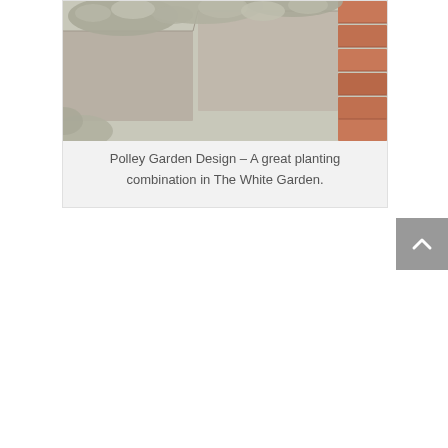[Figure (photo): Garden photo showing silver-grey leafy plants (possibly Stachys byzantina/lamb's ear) growing alongside terracotta brick pavers and stone paving slabs]
Polley Garden Design – A great planting combination in The White Garden.